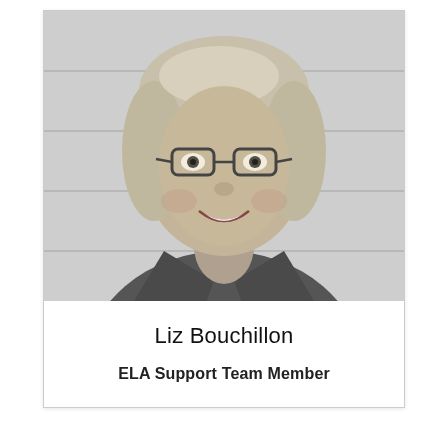[Figure (photo): Black and white headshot photograph of Liz Bouchillon, a woman with short light-colored hair, glasses, and a collared denim shirt, smiling at the camera against a light background.]
Liz Bouchillon
ELA Support Team Member